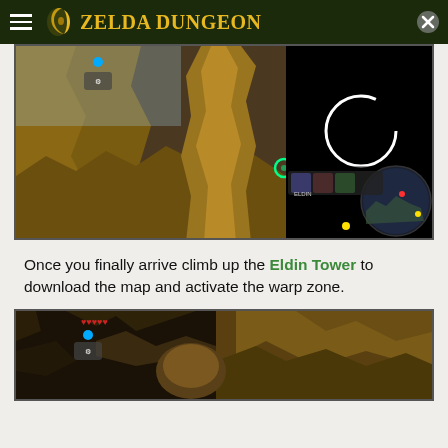Zelda Dungeon
[Figure (screenshot): Screenshot from The Legend of Zelda: Breath of the Wild showing Link paragliding through a rocky canyon. A mini-map is visible in the bottom right corner. The top-right portion of the image is black with a white loading circle.]
Once you finally arrive climb up the Eldin Tower to download the map and activate the warp zone.
[Figure (screenshot): Screenshot from The Legend of Zelda: Breath of the Wild showing a close-up of rocky terrain with heart containers and HUD elements visible in the top-left corner.]